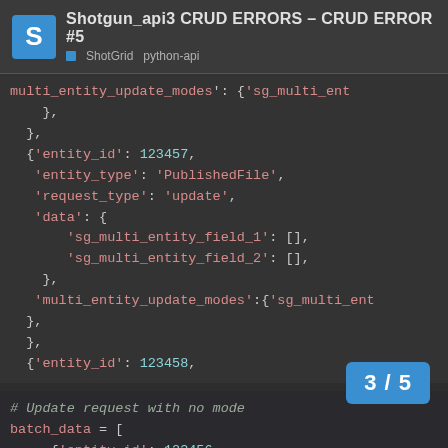Shotgun_api3 CRUD ERRORS - CRUD ERROR #5
ShotGrid python-api
[Figure (screenshot): Code block showing Python batch_data list with entity dictionaries including entity_id, entity_type, request_type, data with sg_multi_entity_field_1 and sg_multi_entity_field_2, and multi_entity_update_modes fields. Entities with IDs 123457 and 123458 visible.]
[Figure (screenshot): Code block with comment '# Update request with no mode' followed by batch_data = [ and entity dict with entity_id: 123456, entity_type: 'Published...']
3 / 5